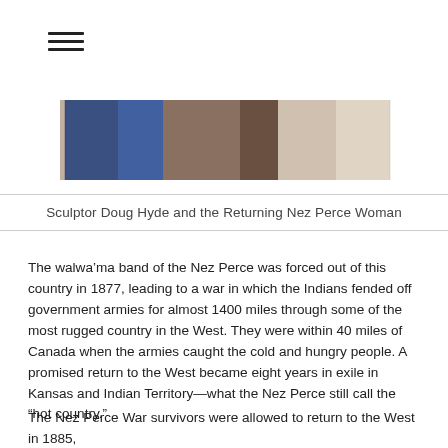[Figure (photo): Partial photo strip showing people near rocks, including blue-clad figures and rocky landscape elements]
Sculptor Doug Hyde and the Returning Nez Perce Woman
The walwa'ma band of the Nez Perce was forced out of this country in 1877, leading to a war in which the Indians fended off government armies for almost 1400 miles through some of the most rugged country in the West. They were within 40 miles of Canada when the armies caught the cold and hungry people. A promised return to the West became eight years in exile in Kansas and Indian Territory—what the Nez Perce still call the “hot country.”
The Nez Perce War survivors were allowed to return to the West in 1885,